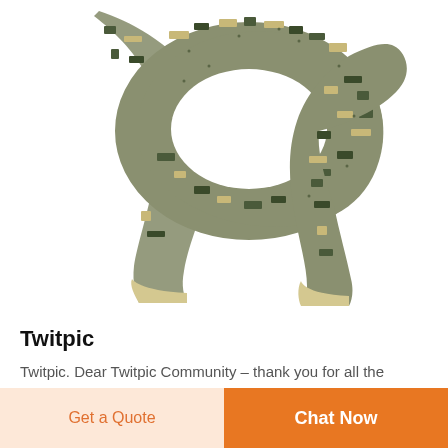[Figure (photo): A camouflage scarf/shemagh fabric in digital ACU pattern, laid loosely folded showing both sides, on a white background.]
Twitpic
Twitpic. Dear Twitpic Community – thank you for all the wonderful photos you have taken over the